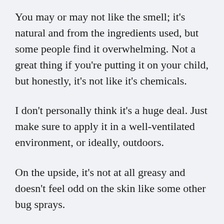You may or may not like the smell; it's natural and from the ingredients used, but some people find it overwhelming. Not a great thing if you're putting it on your child, but honestly, it's not like it's chemicals.
I don't personally think it's a huge deal. Just make sure to apply it in a well-ventilated environment, or ideally, outdoors.
On the upside, it's not at all greasy and doesn't feel odd on the skin like some other bug sprays.